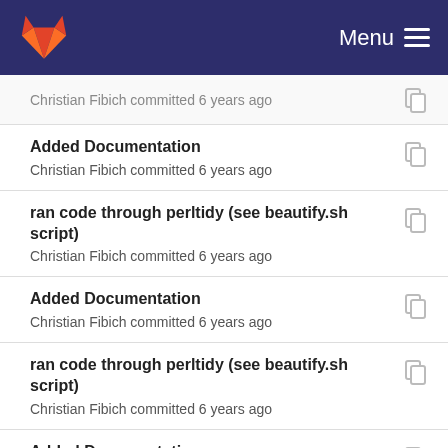Menu
Christian Fibich committed 6 years ago
Added Documentation
Christian Fibich committed 6 years ago
ran code through perltidy (see beautify.sh script)
Christian Fibich committed 6 years ago
Added Documentation
Christian Fibich committed 6 years ago
ran code through perltidy (see beautify.sh script)
Christian Fibich committed 6 years ago
Added Documentation
Christian Fibich committed 6 years ago
ran code through perltidy (see beautify.sh script)
Christian Fibich committed 6 years ago